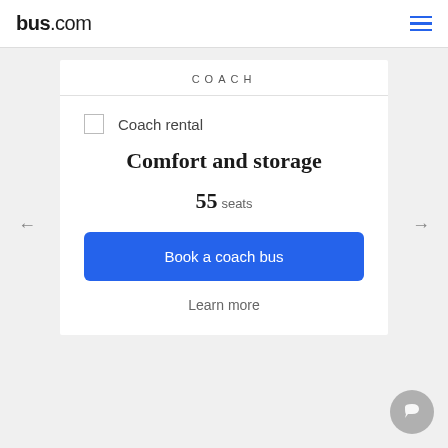bus.com
COACH
Coach rental
Comfort and storage
55 seats
Book a coach bus
Learn more